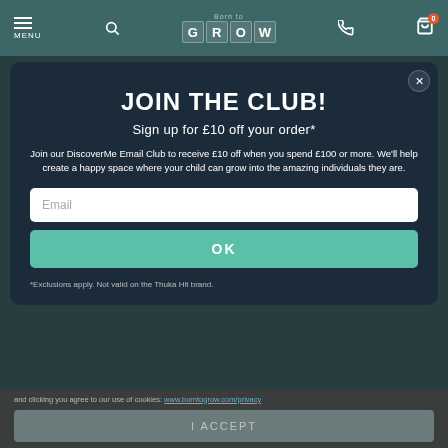MENU | Born to GROW | (phone icon) | (cart icon) 0
JOIN THE CLUB!
Sign up for £10 off your order*
Join our DiscoverMe Email Club to receive £10 off when you spend £100 or more. We'll help create a happy space where your child can grow into the amazing individuals they are.
Email
OK
*Exclusions apply. Not valid on the Thuka Hit brand.
and clicking you agree to our use of cookies: (link)
I ACCEPT